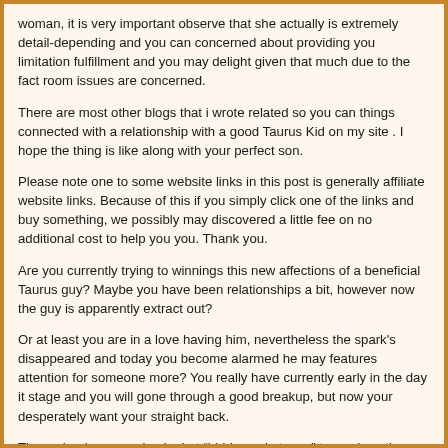woman, it is very important observe that she actually is extremely detail-depending and you can concerned about providing you limitation fulfillment and you may delight given that much due to the fact room issues are concerned.
There are most other blogs that i wrote related so you can things connected with a relationship with a good Taurus Kid on my site . I hope the thing is like along with your perfect son.
Please note one to some website links in this post is generally affiliate website links. Because of this if you simply click one of the links and buy something, we possibly may discovered a little fee on no additional cost to help you you. Thank you.
Are you currently trying to winnings this new affections of a beneficial Taurus guy? Maybe you have been relationships a bit, however now the guy is apparently extract out?
Or at least you are in a love having him, nevertheless the spark's disappeared and today you become alarmed he may features attention for someone more? You really have currently early in the day it stage and you will gone through a good breakup, but now your desperately want your straight back.
There clearly was a simple, but “hidden substance” to produce the need process in the an excellent guy’s head that renders your crave your, and